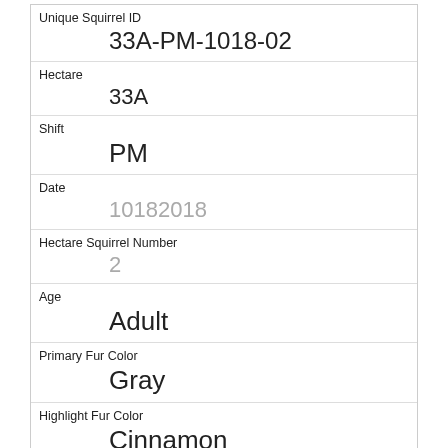| Unique Squirrel ID | 33A-PM-1018-02 |
| Hectare | 33A |
| Shift | PM |
| Date | 10182018 |
| Hectare Squirrel Number | 2 |
| Age | Adult |
| Primary Fur Color | Gray |
| Highlight Fur Color | Cinnamon |
| Combination of Primary and Highlight Color | Gray+Cinnamon |
| Color notes |  |